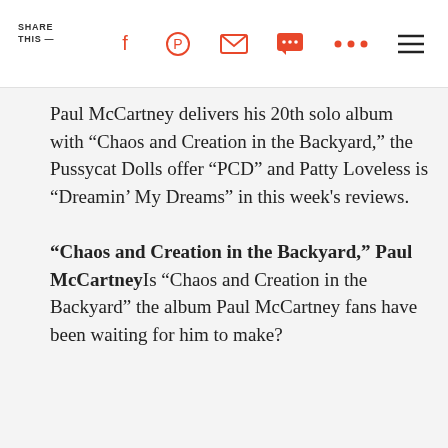SHARE THIS —
Paul McCartney delivers his 20th solo album with “Chaos and Creation in the Backyard,” the Pussycat Dolls offer “PCD” and Patty Loveless is “Dreamin’ My Dreams” in this week’s reviews.
“Chaos and Creation in the Backyard,” Paul McCartney Is “Chaos and Creation in the Backyard” the album Paul McCartney fans have been waiting for him to make?